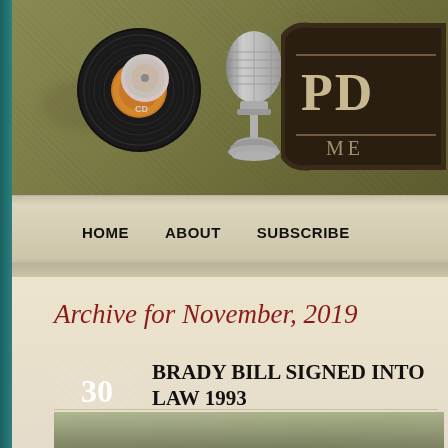[Figure (screenshot): Website header banner with olive/khaki grunge background showing a vinyl record with CD, a silver retro microphone, and a partial logo badge on the right reading 'PD' and 'ME']
HOME   ABOUT   SUBSCRIBE
Archive for November, 2019
30 NOV  BRADY BILL SIGNED INTO LAW 1993
[Figure (photo): Partial photograph visible at bottom of page, appears to show an interior room scene]